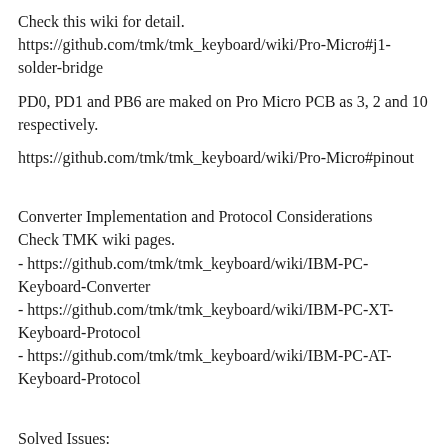Check this wiki for detail.
https://github.com/tmk/tmk_keyboard/wiki/Pro-Micro#j1-solder-bridge
PD0, PD1 and PB6 are maked on Pro Micro PCB as 3, 2 and 10 respectively.
https://github.com/tmk/tmk_keyboard/wiki/Pro-Micro#pinout
Converter Implementation and Protocol Considerations
Check TMK wiki pages.
- https://github.com/tmk/tmk_keyboard/wiki/IBM-PC-Keyboard-Converter
- https://github.com/tmk/tmk_keyboard/wiki/IBM-PC-XT-Keyboard-Protocol
- https://github.com/tmk/tmk_keyboard/wiki/IBM-PC-AT-Keyboard-Protocol
Solved Issues:
MoreIBM PC XT 83-key: